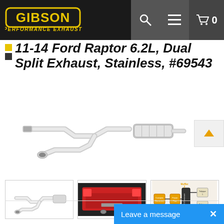[Figure (logo): Gibson Performance Exhaust logo — black background with yellow bold GIBSON text in rounded rectangle and 'PERFORMANCE EXHAUST' below in yellow italic letters]
[Figure (screenshot): Navigation icon bar with search, hamburger menu, and cart (0) icons on dark grey background]
11-14 Ford Raptor 6.2L, Dual Split Exhaust, Stainless, #69543
[Figure (photo): Main product photo: stainless steel dual split exhaust system with S-bend pipes and muffler on white background]
[Figure (photo): Thumbnail 1: small view of exhaust pipe system on white background]
[Figure (photo): Thumbnail 2: red Ford Raptor truck rear view with exhaust visible]
[Figure (schematic): Thumbnail 3: exhaust system schematic diagram showing catalytic converter, power plate, x-crossover pipe, and tailpipe layout]